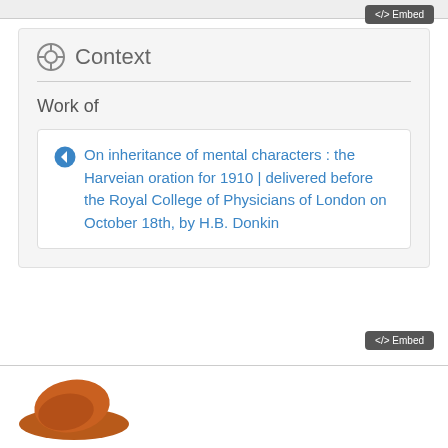[Figure (screenshot): Embed button at top right, dark gray rounded rectangle with '</> Embed' text]
Context
Work of
On inheritance of mental characters : the Harveian oration for 1910 | delivered before the Royal College of Physicians of London on October 18th, by H.B. Donkin
[Figure (screenshot): Embed button at bottom right, dark gray rounded rectangle with '</> Embed' text]
[Figure (logo): Partially visible logo at bottom left — orange/brown hat shape]